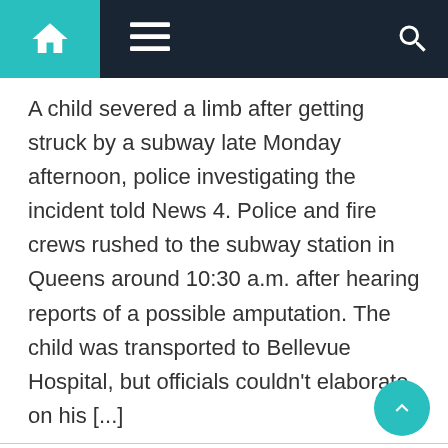Navigation bar with home icon, menu icon, and search icon
A child severed a limb after getting struck by a subway late Monday afternoon, police investigating the incident told News 4. Police and fire crews rushed to the subway station in Queens around 10:30 a.m. after hearing reports of a possible amputation. The child was transported to Bellevue Hospital, but officials couldn't elaborate on his [...]
NYC Card Game Turns Sour, Bullets Fly Outside St. Patrick's Cathedral Church
A shooting over a card game outside St. Patrick's Cathedral Sunday evening sent tourists and New Yorkers scrambling from the popular Manhattan neighborhood. Police increased their presence around the church the